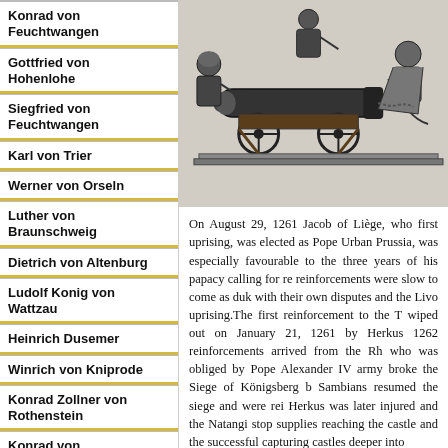Konrad von Feuchtwangen
Gottfried von Hohenlohe
Siegfried von Feuchtwangen
Karl von Trier
Werner von Orseln
Luther von Braunschweig
Dietrich von Altenburg
Ludolf Konig von Wattzau
Heinrich Dusemer
Winrich von Kniprode
Konrad Zollner von Rothenstein
Konrad von Wallenrode
[Figure (illustration): Historical illustration depicting medieval soldiers operating a large cannon or siege weapon, with figures in armor surrounding the device.]
On August 29, 1261 Jacob of Liège, who first uprising, was elected as Pope Urban Prussia, was especially favourable to the three years of his papacy calling for re reinforcements were slow to come as duk with their own disputes and the Livo uprising.The first reinforcement to the T wiped out on January 21, 1261 by Herkus 1262 reinforcements arrived from the Rh who was obliged by Pope Alexander IV army broke the Siege of Königsberg b Sambians resumed the siege and were rei Herkus was later injured and the Natangi stop supplies reaching the castle and th successful capturing castles deeper int